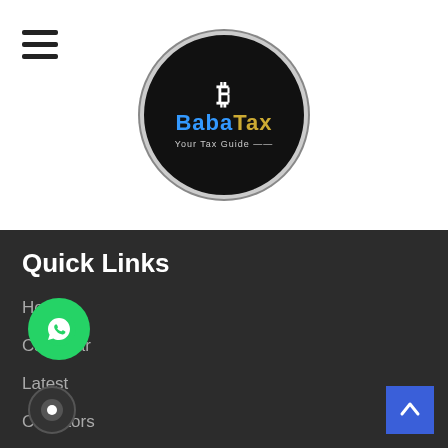[Figure (logo): BabaTax logo — circular black badge with stylized rupee symbol, text 'BabaTax' in blue and gold, tagline 'Your Tax Guide']
Quick Links
Home
Calendar
Latest
Calculators
GST Calculator
GST Interest Calculator
GST Payment and Input Tax Credit Calculator
Tax Solution